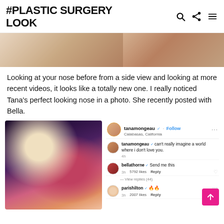#PLASTIC SURGERY LOOK
[Figure (photo): Partial top photo of a person from a before/after nose comparison]
Looking at your nose before from a side view and looking at more recent videos, it looks like a totally new one. I really noticed Tana’s perfect looking nose in a photo. She recently posted with Bella.
[Figure (screenshot): Instagram post screenshot showing Tana Mongeau and Bella Thorne together, with comments from tanamongeau, bellathorne, and parishilton]